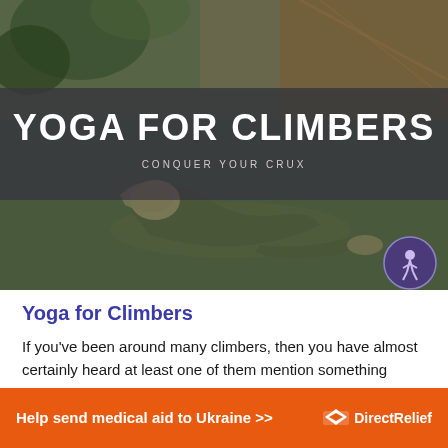[Figure (photo): Hero banner image showing a person doing a yoga back-bend pose on a floor, with plants and wooden interior visible in background. Dark semi-transparent overlay with text 'YOGA FOR CLIMBERS' and subtitle 'CONQUER YOUR CRUX'. A circular logo/icon appears in the bottom right corner.]
Yoga for Climbers
If you’ve been around many climbers, then you have almost certainly heard at least one of them mention something about yoga. Yoga has not only grown in popularity in recent years with the general public
[Figure (infographic): Orange advertisement banner reading 'Help send medical aid to Ukraine >>' with Direct Relief logo on the right.]